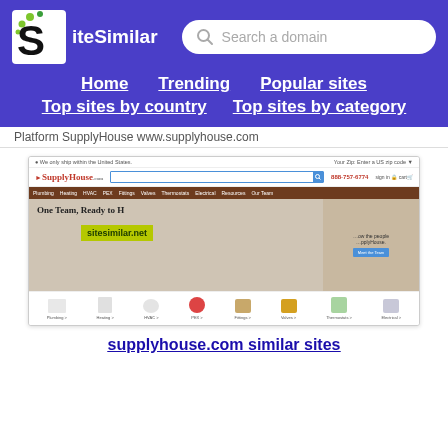[Figure (screenshot): SiteSimilar website header with logo showing stylized S with green dots, site name 'SiteSimilar', and search box with placeholder 'Search a domain']
Home  Trending  Popular sites  Top sites by country  Top sites by category
Platform SupplyHouse www.supplyhouse.com
[Figure (screenshot): Screenshot of supplyhouse.com website showing navigation bar, SupplyHouse logo, search bar, phone number 888-757-6774, hero image with team of people holding boxes with text 'One Team, Ready to Help', sitesimilar.net watermark, and category icons for Plumbing, Heating, HVAC, PEX, Fittings, Valves, Thermostats, Electrical]
supplyhouse.com similar sites